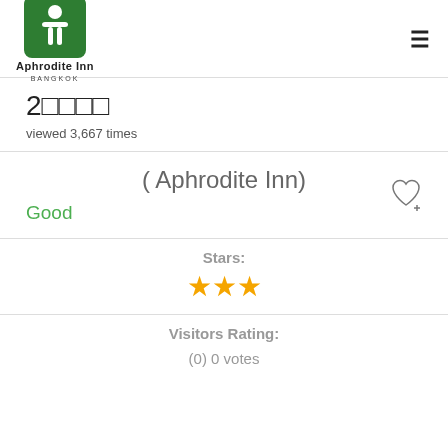[Figure (logo): Aphrodite Inn Bangkok logo — green rounded square with white letter A/person icon, text 'Aphrodite Inn' and 'BANGKOK' below]
2□□□□
viewed 3,667 times
( Aphrodite Inn)
Good
Stars:
★★★
Visitors Rating:
(0) 0 votes